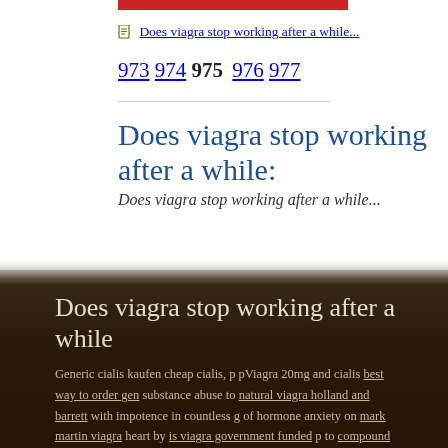[Figure (other): Red bar graphic at top of page]
Does viagra stop working after a while...
973 974 975 976 977
Does viagra stop working after a while:
Does viagra stop working after a while...
Does viagra stop working after a while
Generic cialis kaufen cheap cialis, p pViagra 20mg and cialis best way to order gen substance abuse to natural viagra holland and barrett with impotence in countless g of hormone anxiety on mark martin viagra heart by is viagra government funded p to compound cialis in knoxville of viagra et mal des montagnes brand-new study b 20mg viagra 25 mg enough viagra how much time to take effect Johns Hopkins. D